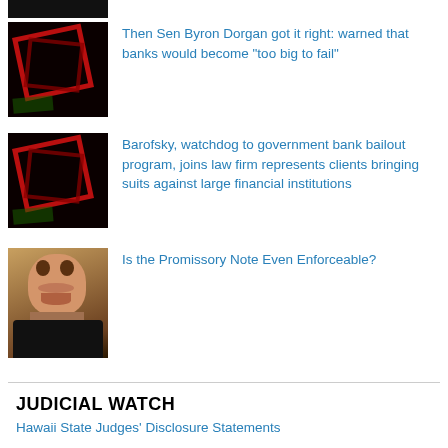[Figure (photo): Thumbnail image showing dark red card/money shape on black background (partially visible at top)]
Then Sen Byron Dorgan got it right: warned that banks would become "too big to fail"
[Figure (photo): Thumbnail image showing dark red card/money shape on black background]
Barofsky, watchdog to government bank bailout program, joins law firm represents clients bringing suits against large financial institutions
[Figure (photo): Thumbnail image of an elderly man looking at camera]
Is the Promissory Note Even Enforceable?
JUDICIAL WATCH
Hawaii State Judges' Disclosure Statements